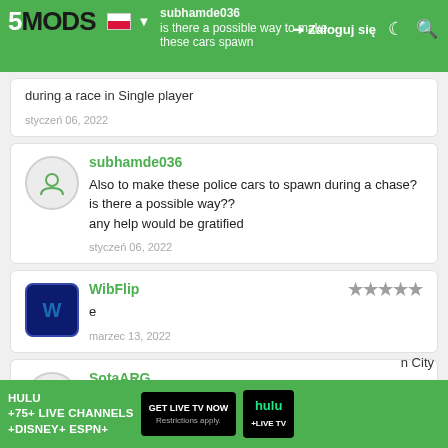5MODS | subhamde036 | Zaloguj się
Is there a possible way to make these cars spawn during a race in Single player
styczeń 06, 2022
subhamde036
Also to make these police cars to spawn during a chase?
is there a possible way??
any help would be gratified
styczeń 06, 2022
WibFlip
e
marzec 13, 2022
SotaARG
Very nice work, have you thought about making ... City
[Figure (other): Hulu advertisement banner: HULU +75+ LIVE CHANNELS +DISNEY+ ESPN+ with GET LIVE TV NOW button and hulu + LIVE TV logo]